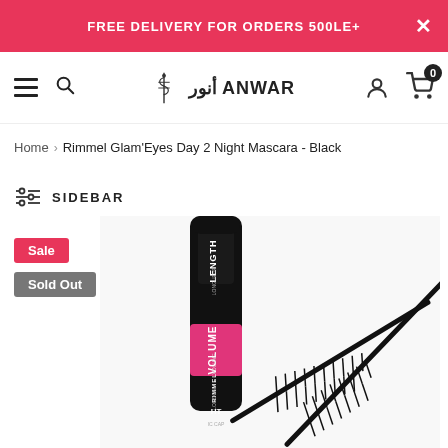FREE DELIVERY FOR ORDERS 500LE+
[Figure (logo): Anwar pharmacy logo with Arabic text and snake-staff symbol]
Home > Rimmel Glam'Eyes Day 2 Night Mascara - Black
SIDEBAR
Sale
Sold Out
[Figure (photo): Rimmel London Glam'Eyes Day 2 Night Mascara product photo showing black mascara tube with pink VOLUME band and mascara wand brushes on white background]